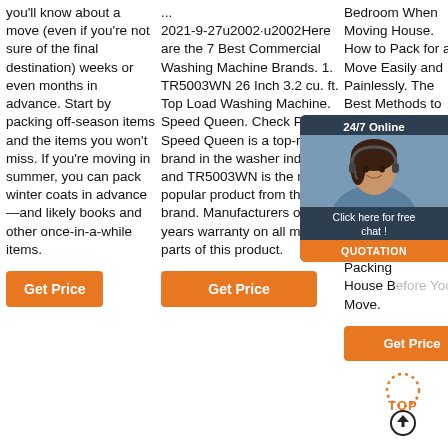you'll know about a move (even if you're not sure of the final destination) weeks or even months in advance. Start by packing off-season items and the items you won't miss. If you're moving in summer, you can pack winter coats in advance—and likely books and other once-in-a-while items.
Get Price
... 2021-9-27u2002·u2002Here are the 7 Best Commercial Washing Machine Brands. 1. TR5003WN 26 Inch 3.2 cu. ft. Top Load Washing Machine. Speed Queen. Check Price. Speed Queen is a top-rated brand in the washer industry, and TR5003WN is the most popular product from this brand. Manufacturers offer 10 years warranty on all major parts of this product.
Get Price
Bedroom When Moving House. How to Pack for a Move Easily and Painlessly. The Best Methods to Pack Glasses, Mugs, Wine Glasses, How to Pack and Transport Things. Follow The Room-by-Room Packing List. House Before You Move.
[Figure (other): 24/7 Online chat widget with woman wearing headset, orange QUOTATION button, and 'Click here for free chat!' text]
Get Price
[Figure (other): TOP scroll-to-top icon with orange dotted arc and circular up-arrow button]